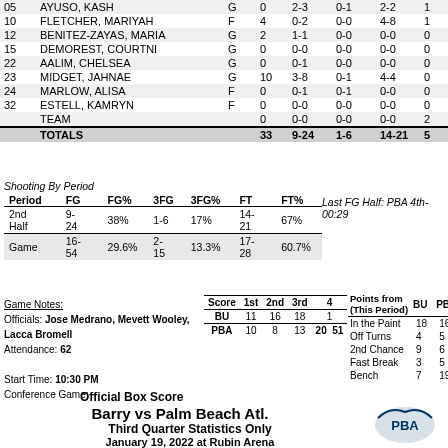| # | Name | Pos | Min | FG | 3FG | FT | PF |
| --- | --- | --- | --- | --- | --- | --- | --- |
| 05 | AYUSO, KASH | G | 0 | 2-3 | 0-1 | 2-2 | 1 |
| 10 | FLETCHER, MARIYAH | F | 4 | 0-2 | 0-0 | 4-8 | 1 |
| 12 | BENITEZ-ZAYAS, MARIA | G | 2 | 1-1 | 0-0 | 0-0 | 0 |
| 15 | DEMOREST, COURTNI | G | 0 | 0-0 | 0-0 | 0-0 | 0 |
| 22 | AALIM, CHELSEA | G | 0 | 0-1 | 0-0 | 0-0 | 0 |
| 23 | MIDGET, JAHNAE | G | 10 | 3-8 | 0-1 | 4-4 | 0 |
| 24 | MARLOW, ALISA | F | 0 | 0-1 | 0-1 | 0-0 | 0 |
| 32 | ESTELL, KAMRYN | F | 0 | 0-0 | 0-0 | 0-0 | 0 |
|  | TEAM |  |  | 0 | 0-0 | 0-0 | 0-0 | 2 |
|  | TOTALS |  |  | 33 | 9-24 | 1-6 | 14-21 | 5 |
Shooting By Period
| Period | FG | FG% | 3FG | 3FG% | FT | FT% |
| --- | --- | --- | --- | --- | --- | --- |
| 2nd Half | 9-24 | 38% | 1-6 | 17% | 14-21 | 67% |
| Game | 16-54 | 29.6% | 2-15 | 13.3% | 17-28 | 60.7% |
Last FG Half: PBA 4th-00:29
Game Notes:
Officials: Jose Medrano, Mevett Wooley, Lacca Bromell
Attendance: 62
Start Time: 10:30 PM
Conference Game;
| Score | 1st | 2nd | 3rd | 4 |
| --- | --- | --- | --- | --- |
| BU | 11 | 16 | 18 | 1 |
| PBA | 10 | 8 | 13 | 20  51 |
| Points from (This Period) | BU | PBA |
| --- | --- | --- |
| In the Paint | 18 | 16 |
| Off Turns | 4 | 5 |
| 2nd Chance | 9 | 6 |
| Fast Break | 3 | 5 |
| Bench | 7 | 19 |
Official Box Score
Barry vs Palm Beach Atl.
Third Quarter Statistics Only
January 19, 2022 at Rubin Arena